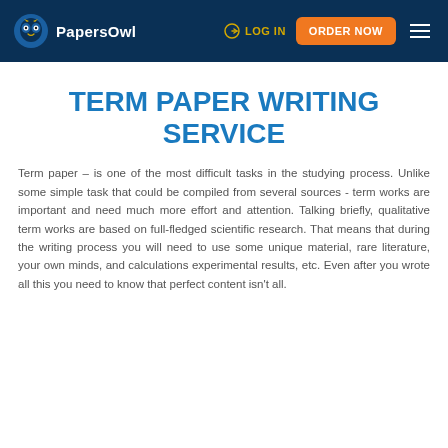PapersOwl | LOG IN | ORDER NOW
TERM PAPER WRITING SERVICE
Term paper – is one of the most difficult tasks in the studying process. Unlike some simple task that could be compiled from several sources - term works are important and need much more effort and attention. Talking briefly, qualitative term works are based on full-fledged scientific research. That means that during the writing process you will need to use some unique material, rare literature, your own minds, and calculations experimental results, etc. Even after you wrote all this you need to know that perfect content isn't all.